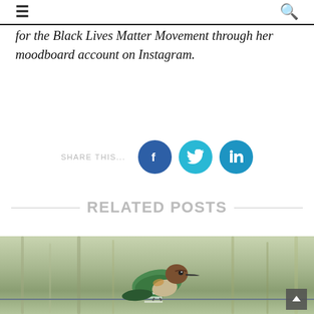☰ [navigation] 🔍 [search]
for the Black Lives Matter Movement through her moodboard account on Instagram.
SHARE THIS...
RELATED POSTS
[Figure (photo): A small green and brown bird perched on a barbed wire fence, photographed in a meadow with blurred green background.]